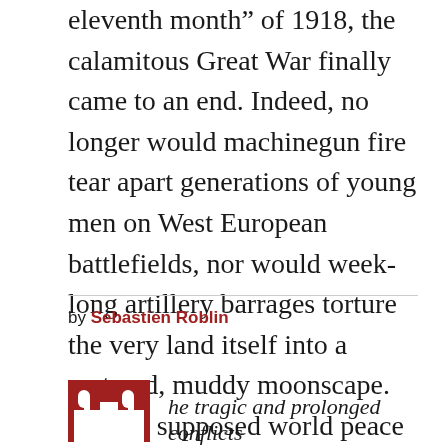eleventh month” of 1918, the calamitous Great War finally came to an end. Indeed, no longer would machinegun fire tear apart generations of young men on West European battlefields, nor would week-long artillery barrages torture the very land itself into a cratered, muddy moonscape. But the supposed world peace brought about by Armistice Day was anything but universal
by Sebastien Roblin
he tragic and prolonged conflicts